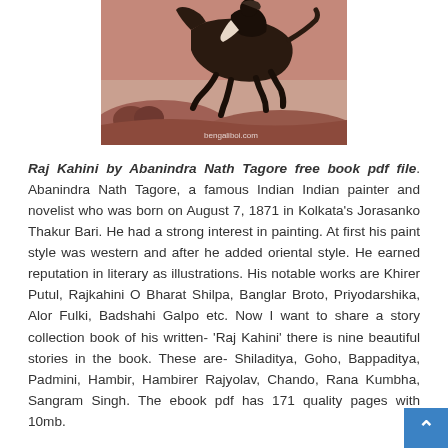[Figure (illustration): A painting in brownish/reddish tones showing a figure on a leaping horse against a landscape background with trees and hills. Watermark reads 'bengaliboi.com'.]
Raj Kahini by Abanindra Nath Tagore free book pdf file. Abanindra Nath Tagore, a famous Indian Indian painter and novelist who was born on August 7, 1871 in Kolkata's Jorasanko Thakur Bari. He had a strong interest in painting. At first his paint style was western and after he added oriental style. He earned reputation in literary as illustrations. His notable works are Khirer Putul, Rajkahini O Bharat Shilpa, Banglar Broto, Priyodarshika, Alor Fulki, Badshahi Galpo etc. Now I want to share a story collection book of his written- 'Raj Kahini' there is nine beautiful stories in the book. These are- Shiladitya, Goho, Bappaditya, Padmini, Hambir, Hambirer Rajyolav, Chando, Rana Kumbha, Sangram Singh. The ebook pdf has 171 quality pages with 10mb.